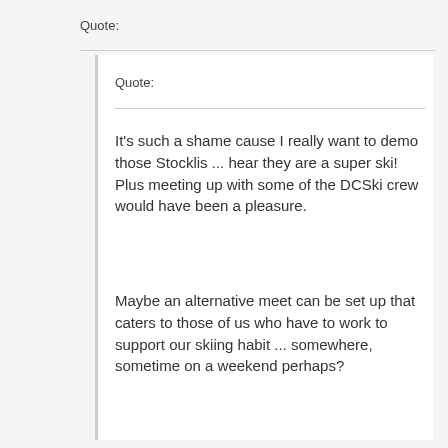Quote:
Quote:
It's such a shame cause I really want to demo those Stocklis ... hear they are a super ski! Plus meeting up with some of the DCSki crew would have been a pleasure.
Maybe an alternative meet can be set up that caters to those of us who have to work to support our skiing habit ... somewhere, sometime on a weekend perhaps?